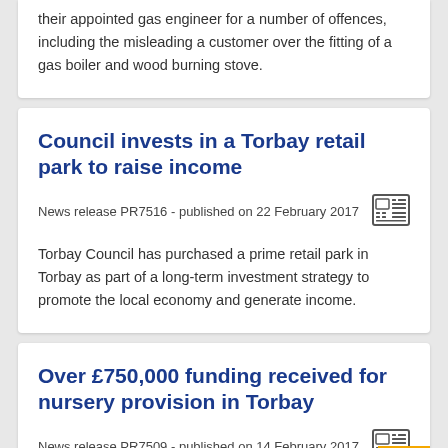their appointed gas engineer for a number of offences, including the misleading a customer over the fitting of a gas boiler and wood burning stove.
Council invests in a Torbay retail park to raise income
News release PR7516 - published on 22 February 2017
Torbay Council has purchased a prime retail park in Torbay as part of a long-term investment strategy to promote the local economy and generate income.
Over £750,000 funding received for nursery provision in Torbay
News release PR7509 - published on 14 February 2017